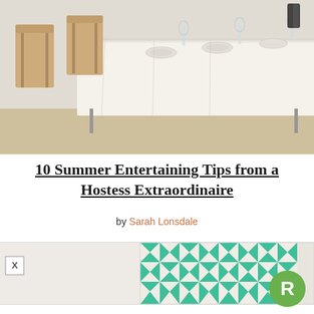[Figure (photo): A long dining table set with white tablecloth, plates, and glassware, with wooden chairs alongside it in a bright room]
10 Summer Entertaining Tips from a Hostess Extraordinaire
by Sarah Lonsdale
[Figure (photo): Advertisement banner showing a geometric teal and white patterned artwork/print with an X close button, and a green circular R logo in the bottom right corner]